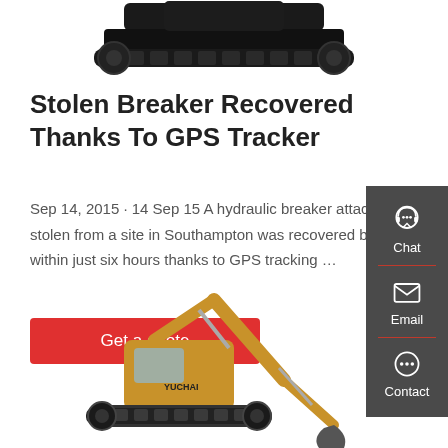[Figure (photo): Top portion of a black tracked excavator/heavy machinery undercarriage and body, cropped at top of page]
Stolen Breaker Recovered Thanks To GPS Tracker
Sep 14, 2015 · 14 Sep 15 A hydraulic breaker attachment stolen from a site in Southampton was recovered by police within just six hours thanks to GPS tracking …
[Figure (other): Red button labeled 'Get a quote']
[Figure (other): Dark grey sidebar with Chat, Email, and Contact icons]
[Figure (photo): Yellow Yuchai excavator/construction machine shown at bottom of page, partially cropped]